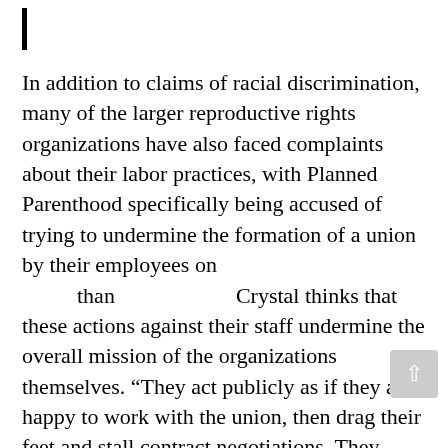In addition to claims of racial discrimination, many of the larger reproductive rights organizations have also faced complaints about their labor practices, with Planned Parenthood specifically being accused of trying to undermine the formation of a union by their employees on      than                    Crystal thinks that these actions against their staff undermine the overall mission of the organizations themselves. “They act publicly as if they are happy to work with the union, then drag their feet and stall contract negotiations. They continue to treat staff poorly and attempt to deny employees of their               ” she said.